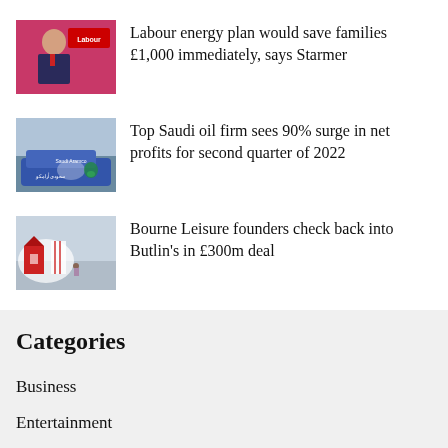[Figure (photo): Man in suit at Labour party event with red Labour logo background]
Labour energy plan would save families £1,000 immediately, says Starmer
[Figure (photo): Saudi Aramco logo and branding on vehicle]
Top Saudi oil firm sees 90% surge in net profits for second quarter of 2022
[Figure (photo): Butlin's holiday camp red and white buildings]
Bourne Leisure founders check back into Butlin's in £300m deal
Categories
Business
Entertainment